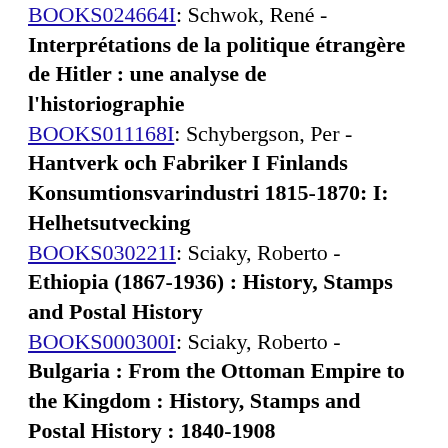BOOKS024664I: Schwok, René - Interprétations de la politique étrangère de Hitler : une analyse de l'historiographie
BOOKS011168I: Schybergson, Per - Hantverk och Fabriker I Finlands Konsumtionsvarindustri 1815-1870: I: Helhetsutvecking
BOOKS030221I: Sciaky, Roberto - Ethiopia (1867-1936) : History, Stamps and Postal History
BOOKS000300I: Sciaky, Roberto - Bulgaria : From the Ottoman Empire to the Kingdom : History, Stamps and Postal History : 1840-1908
BOOKS026500I: British Society for the History of Science - BJHS : The British Journal for the History of Science. Vol...